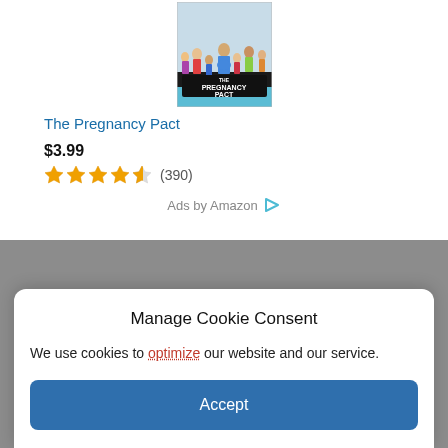[Figure (photo): Movie poster for 'The Pregnancy Pact' showing a group of teens standing together with the title at the bottom]
The Pregnancy Pact
$3.99
★★★★½ (390)
Ads by Amazon ▷
Manage Cookie Consent
We use cookies to optimize our website and our service.
Accept